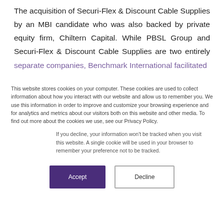The acquisition of Securi-Flex & Discount Cable Supplies by an MBI candidate who was also backed by private equity firm, Chiltern Capital. While PBSL Group and Securi-Flex & Discount Cable Supplies are two entirely separate companies, Benchmark International facilitated
This website stores cookies on your computer. These cookies are used to collect information about how you interact with our website and allow us to remember you. We use this information in order to improve and customize your browsing experience and for analytics and metrics about our visitors both on this website and other media. To find out more about the cookies we use, see our Privacy Policy.
If you decline, your information won't be tracked when you visit this website. A single cookie will be used in your browser to remember your preference not to be tracked.
Accept
Decline